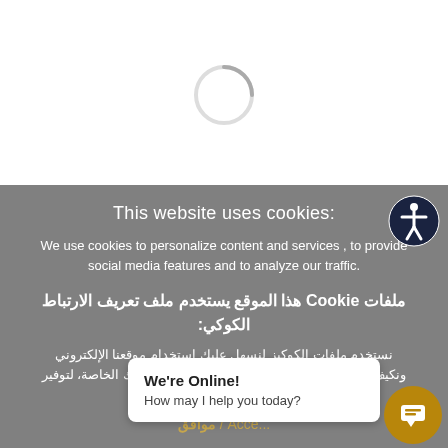[Figure (screenshot): White blank area at top of page representing a website background]
This website uses cookies:
We use cookies to personalize content and services , to provide social media features and to analyze our traffic.
ملفات Cookie هذا الموقع يستخدم ملف تعريف الارتباط الكوكي:
نستخدم ملفات الكوكيز لنسهل عليك استخدام موقعنا الإلكتروني ونكيف المحتوى والخدمات وفقا لمتطلباتك واحتياجاتك الخاصة، لتوفير ميز... حركة المرور لدينا
موافق / Accept
We're Online! How may I help you today?